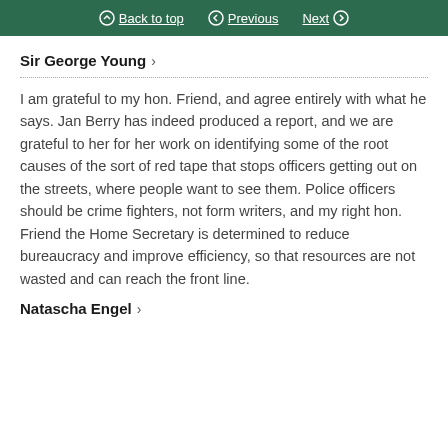Back to top | Previous | Next
Sir George Young >
I am grateful to my hon. Friend, and agree entirely with what he says. Jan Berry has indeed produced a report, and we are grateful to her for her work on identifying some of the root causes of the sort of red tape that stops officers getting out on the streets, where people want to see them. Police officers should be crime fighters, not form writers, and my right hon. Friend the Home Secretary is determined to reduce bureaucracy and improve efficiency, so that resources are not wasted and can reach the front line.
Natascha Engel >